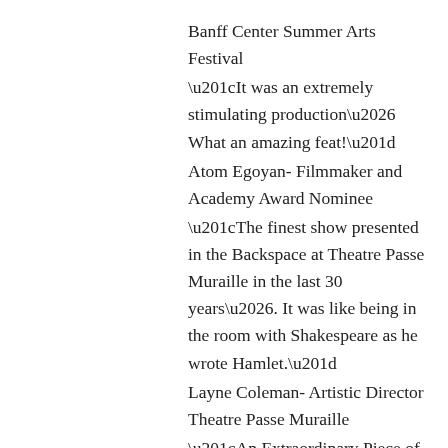Banff Center Summer Arts Festival
“It was an extremely stimulating production… What an amazing feat!”
Atom Egoyan- Filmmaker and Academy Award Nominee
“The finest show presented in the Backspace at Theatre Passe Muraille in the last 30 years…. It was like being in the room with Shakespeare as he wrote Hamlet.”
Layne Coleman- Artistic Director Theatre Passe Muraille
“An Extraordinary Piece of Theatre.”
Paul Thompson- Legendary Canadian Theatre Director